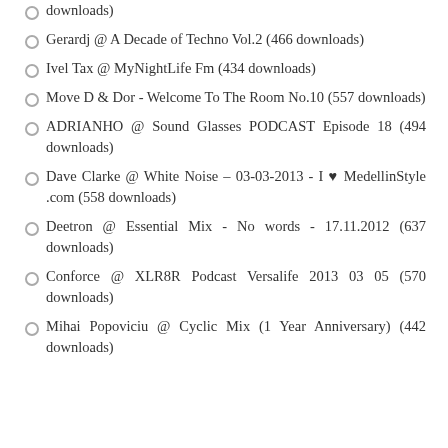downloads)
Gerardj @ A Decade of Techno Vol.2 (466 downloads)
Ivel Tax @ MyNightLife Fm (434 downloads)
Move D & Dor - Welcome To The Room No.10 (557 downloads)
ADRIANHO @ Sound Glasses PODCAST Episode 18 (494 downloads)
Dave Clarke @ White Noise – 03-03-2013 - I ♥ MedellinStyle .com (558 downloads)
Deetron @ Essential Mix - No words - 17.11.2012 (637 downloads)
Conforce @ XLR8R Podcast Versalife 2013 03 05 (570 downloads)
Mihai Popoviciu @ Cyclic Mix (1 Year Anniversary) (442 downloads)